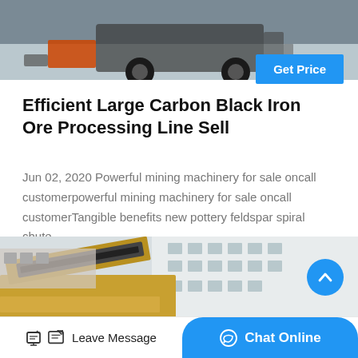[Figure (photo): Top portion of a truck or industrial vehicle photographed outdoors, dark machinery against a light background]
Get Price
Efficient Large Carbon Black Iron Ore Processing Line Sell
Jun 02, 2020 Powerful mining machinery for sale oncall customerpowerful mining machinery for sale oncall customerTangible benefits new pottery feldspar spiral chute…
[Figure (photo): Outdoor industrial mining facility with yellow heavy machinery and a large white multi-story building in the background]
Leave Message
Chat Online